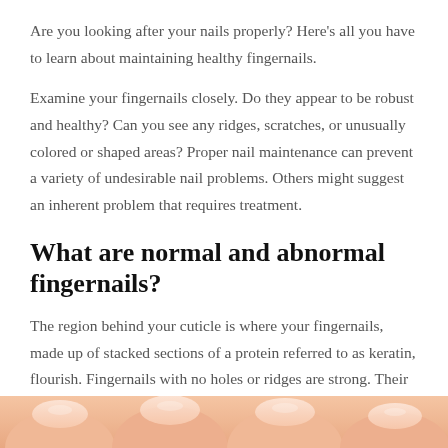Are you looking after your nails properly? Here’s all you have to learn about maintaining healthy fingernails.
Examine your fingernails closely. Do they appear to be robust and healthy? Can you see any ridges, scratches, or unusually colored or shaped areas? Proper nail maintenance can prevent a variety of undesirable nail problems. Others might suggest an inherent problem that requires treatment.
What are normal and abnormal fingernails?
The region behind your cuticle is where your fingernails, made up of stacked sections of a protein referred to as keratin, flourish. Fingernails with no holes or ridges are strong. Their shade and texture are uniforms, with no spots or discoloration.
[Figure (photo): Close-up photo of fingernails, partially visible at the bottom of the page, showing skin-toned fingers with manicured nails.]